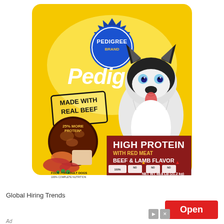[Figure (photo): Pedigree High Protein with Red Meat Beef & Lamb Flavor dry dog food bag (46.8 lb / 21.2 kg). Yellow bag with blue ribbon Pedigree logo, Siberian Husky dog on right, 'Made with Real Beef' stamp, protein food images at bottom left, red panel with product name at bottom right.]
Global Hiring Trends
Open
Ad